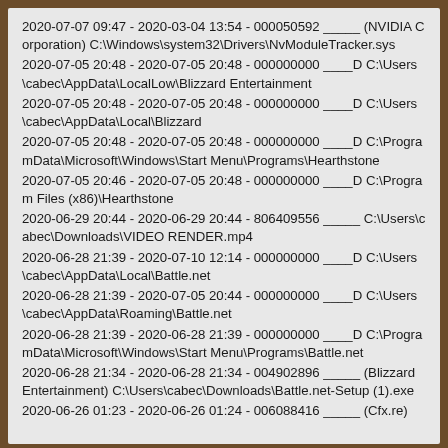2020-07-07 09:47 - 2020-03-04 13:54 - 000050592 _____ (NVIDIA Corporation) C:\Windows\system32\Drivers\NvModuleTracker.sys
2020-07-05 20:48 - 2020-07-05 20:48 - 000000000 ____D C:\Users\cabec\AppData\LocalLow\Blizzard Entertainment
2020-07-05 20:48 - 2020-07-05 20:48 - 000000000 ____D C:\Users\cabec\AppData\Local\Blizzard
2020-07-05 20:48 - 2020-07-05 20:48 - 000000000 ____D C:\ProgramData\Microsoft\Windows\Start Menu\Programs\Hearthstone
2020-07-05 20:46 - 2020-07-05 20:48 - 000000000 ____D C:\Program Files (x86)\Hearthstone
2020-06-29 20:44 - 2020-06-29 20:44 - 806409556 _____ C:\Users\cabec\Downloads\VIDEO RENDER.mp4
2020-06-28 21:39 - 2020-07-10 12:14 - 000000000 ____D C:\Users\cabec\AppData\Local\Battle.net
2020-06-28 21:39 - 2020-07-05 20:44 - 000000000 ____D C:\Users\cabec\AppData\Roaming\Battle.net
2020-06-28 21:39 - 2020-06-28 21:39 - 000000000 ____D C:\ProgramData\Microsoft\Windows\Start Menu\Programs\Battle.net
2020-06-28 21:34 - 2020-06-28 21:34 - 004902896 _____ (Blizzard Entertainment) C:\Users\cabec\Downloads\Battle.net-Setup (1).exe
2020-06-26 01:23 - 2020-06-26 01:24 - 006088416 _____ (Cfx.re)